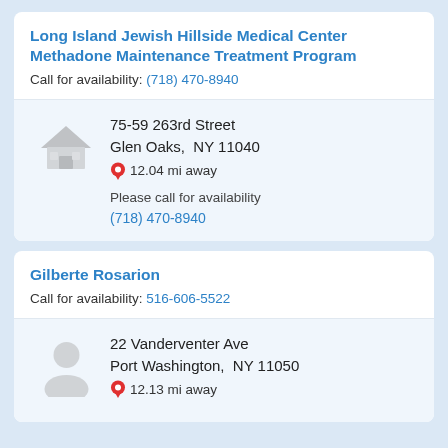Long Island Jewish Hillside Medical Center Methadone Maintenance Treatment Program
Call for availability: (718) 470-8940
75-59 263rd Street
Glen Oaks, NY 11040
12.04 mi away
Please call for availability
(718) 470-8940
Gilberte Rosarion
Call for availability: 516-606-5522
22 Vanderventer Ave
Port Washington, NY 11050
12.13 mi away